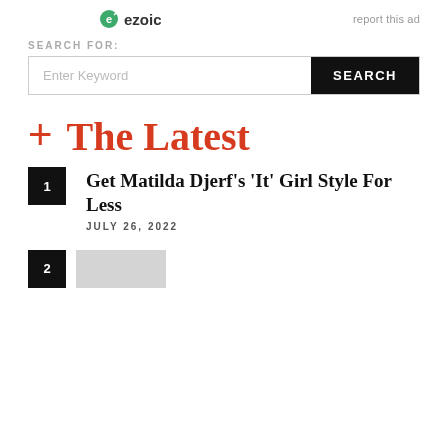[Figure (logo): Ezoic logo with green icon and 'ezoic' text, plus 'report this ad' link]
SEARCH FOR:
Enter Keyword    SEARCH
+ The Latest
1  Get Matilda Djerf's 'It' Girl Style For Less  JULY 26, 2022
2